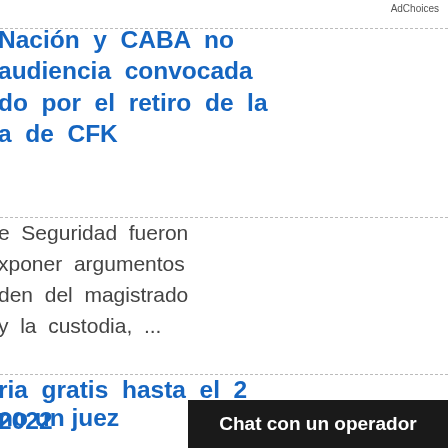[Figure (screenshot): AdChoices advertisement label with icon in top right]
Nación y CABA no audiencia convocada do por el retiro de la a de CFK
e Seguridad fueron xponer argumentos den del magistrado y la custodia, ...
ria gratis hasta el 2 2022
s unidades móviles brinda atención hasta el 2 de cen castraciones y
no un juez
[Figure (screenshot): Chat con un operador - black chat bar overlay at bottom]